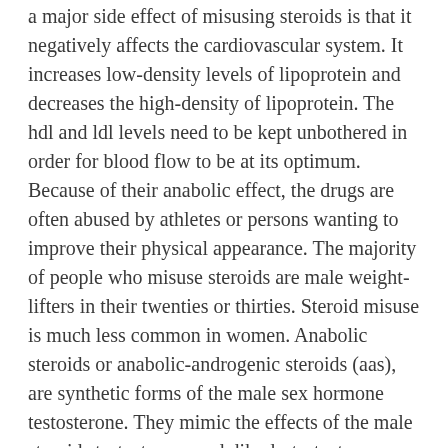a major side effect of misusing steroids is that it negatively affects the cardiovascular system. It increases low-density levels of lipoprotein and decreases the high-density of lipoprotein. The hdl and ldl levels need to be kept unbothered in order for blood flow to be at its optimum. Because of their anabolic effect, the drugs are often abused by athletes or persons wanting to improve their physical appearance. The majority of people who misuse steroids are male weight-lifters in their twenties or thirties. Steroid misuse is much less common in women. Anabolic steroids or anabolic-androgenic steroids (aas), are synthetic forms of the male sex hormone testosterone. They mimic the effects of the male steroids testosterone and dihydrotestosterone. They increase protein synthesis within cells, which results in the buildup of cellular tissue (especially in muscles). The side effects of abusing anabolic steroids anabolic steroids are a kind of medication that should only be taken with a prescription. They are sometimes used without a prescription by people to enhance their athletic performance and increase their muscle mass. Short-term side effects include insomnia, swelling and fluid retention, and headaches. They can even cause long-term damage to your